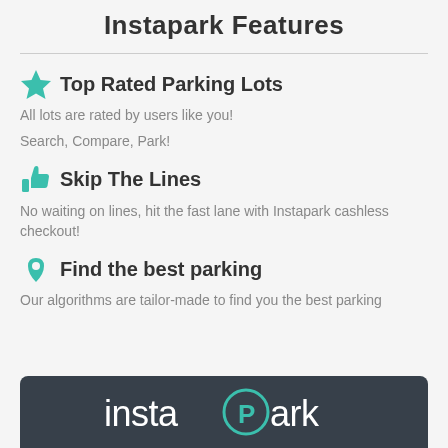Instapark Features
Top Rated Parking Lots
All lots are rated by users like you!
Search, Compare, Park!
Skip The Lines
No waiting on lines, hit the fast lane with Instapark cashless checkout!
Find the best parking
Our algorithms are tailor-made to find you the best parking
[Figure (logo): Instapark logo on dark background with teal P icon]